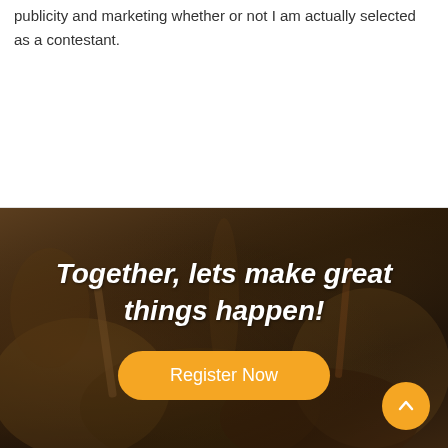publicity and marketing whether or not I am actually selected as a contestant.
[Figure (photo): Dark rocky/earthy landscape background image with tools visible]
Together, lets make great things happen!
Register Now